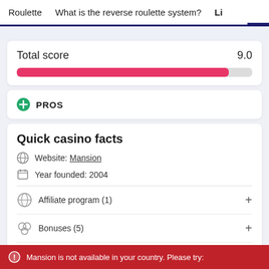Roulette   What is the reverse roulette system?   Li
Total score   9.0
[Figure (other): A score progress bar showing ~91% fill in pink/red color on a grey background]
PROS
Quick casino facts
Website: Mansion
Year founded: 2004
Affiliate program (1)
Bonuses (5)
Countries (0)
Mansion is not available in your country. Please try: